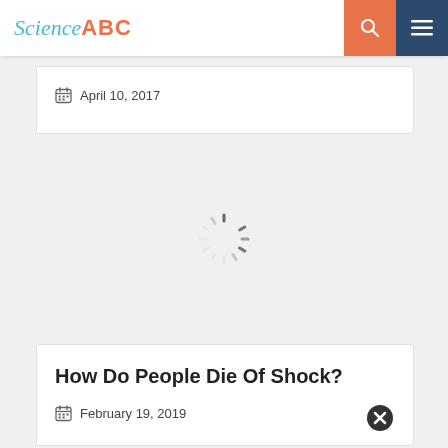Science ABC
April 10, 2017
[Figure (other): Loading spinner animation (circular dashed ring)]
How Do People Die Of Shock?
February 19, 2019